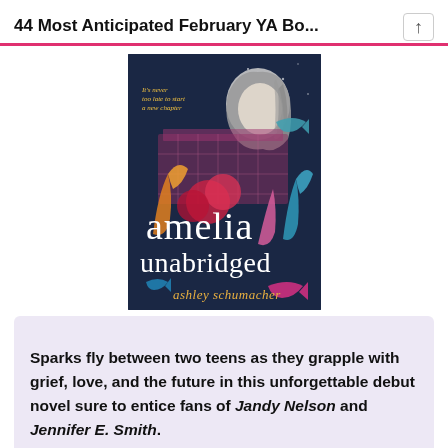44 Most Anticipated February YA Bo...
[Figure (illustration): Book cover of 'Amelia Unabridged' by Ashley Schumacher. Dark navy background with illustrated girl looking down, colorful plants, whales, and decorative elements. Text reads: 'It's never too late to start a new chapter', 'amelia unabridged', 'ashley schumacher']
Sparks fly between two teens as they grapple with grief, love, and the future in this unforgettable debut novel sure to entice fans of Jandy Nelson and Jennifer E. Smith.